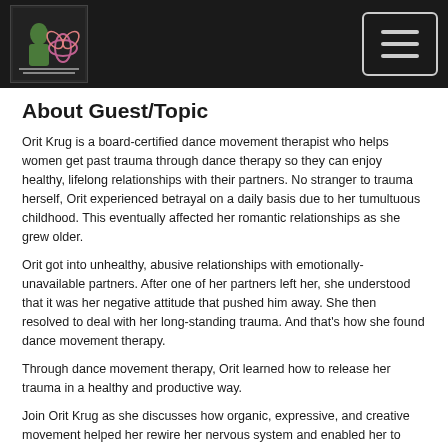Betrayal to Breakthrough podcast logo and navigation menu
About Guest/Topic
Orit Krug is a board-certified dance movement therapist who helps women get past trauma through dance therapy so they can enjoy healthy, lifelong relationships with their partners. No stranger to trauma herself, Orit experienced betrayal on a daily basis due to her tumultuous childhood. This eventually affected her romantic relationships as she grew older.
Orit got into unhealthy, abusive relationships with emotionally-unavailable partners. After one of her partners left her, she understood that it was her negative attitude that pushed him away. She then resolved to deal with her long-standing trauma. And that's how she found dance movement therapy.
Through dance movement therapy, Orit learned how to release her trauma in a healthy and productive way.
Join Orit Krug as she discusses how organic, expressive, and creative movement helped her rewire her nervous system and enabled her to break unhealthy relationship patterns.